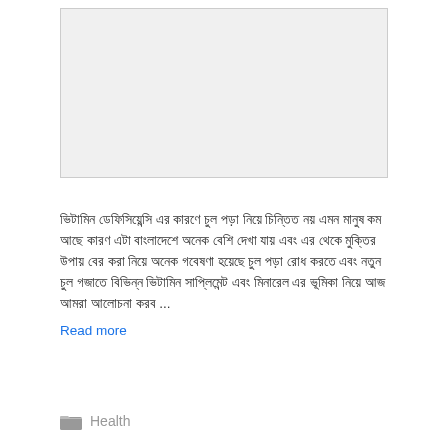[Figure (other): Advertisement placeholder box with light gray background]
ভিটামিন ডেফিসিয়েন্সি এর কারণে চুল পড়া নিয়ে চিন্তিত নয় এমন মানুষ কম আছে কারণ এটা বাংলাদেশে অনেক বেশি দেখা যায় এবং এর থেকে মুক্তির উপায় বের করা নিয়ে অনেক গবেষণা হয়েছে চুল পড়া রোধ করতে এবং নতুন চুল গজাতে বিভিন্ন ভিটামিন সাপ্লিমেন্ট এবং মিনারেল এর ভূমিকা নিয়ে আজ আমরা আলোচনা করব ... Read more
Health